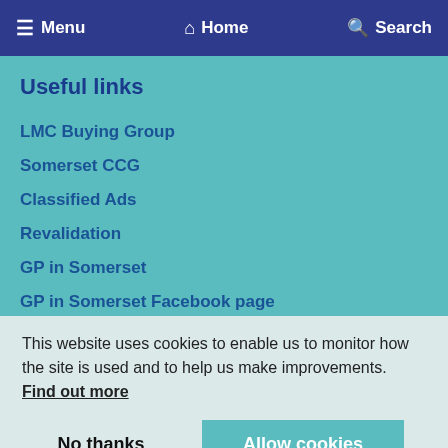Menu  Home  Search
Useful links
LMC Buying Group
Somerset CCG
Classified Ads
Revalidation
GP in Somerset
GP in Somerset Facebook page
Website Terms and Conditions
Website (partially obscured)
This website uses cookies to enable us to monitor how the site is used and to help us make improvements. Find out more
Address
Somerset Local Medical Committee
Crown Medical Centre
Venture Way